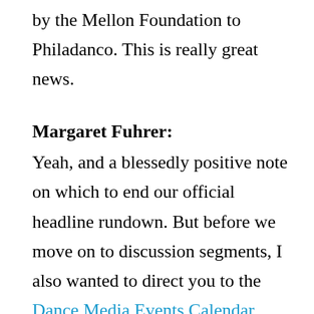by the Mellon Foundation to Philadanco. This is really great news.
Margaret Fuhrer:
Yeah, and a blessedly positive note on which to end our official headline rundown. But before we move on to discussion segments, I also wanted to direct you to the Dance Media Events Calendar, which has listings for all kinds of newsworthy performances and events, including a lot of stuff we don't have time to get to on the podcast. So tune and